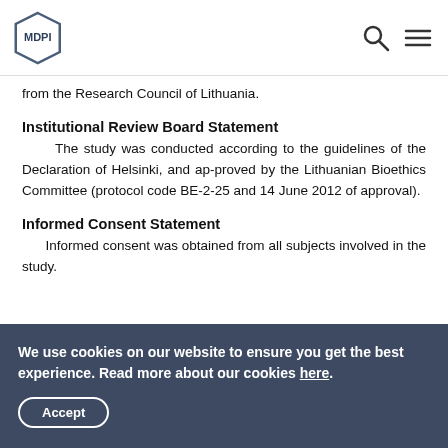MDPI [logo and navigation]
from the Research Council of Lithuania.
Institutional Review Board Statement
The study was conducted according to the guidelines of the Declaration of Helsinki, and ap-proved by the Lithuanian Bioethics Committee (protocol code BE-2-25 and 14 June 2012 of approval).
Informed Consent Statement
Informed consent was obtained from all subjects involved in the study.
We use cookies on our website to ensure you get the best experience. Read more about our cookies here. [Accept button]